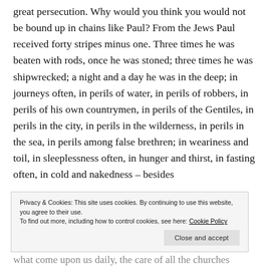great persecution. Why would you think you would not be bound up in chains like Paul? From the Jews Paul received forty stripes minus one. Three times he was beaten with rods, once he was stoned; three times he was shipwrecked; a night and a day he was in the deep; in journeys often, in perils of water, in perils of robbers, in perils of his own countrymen, in perils of the Gentiles, in perils in the city, in perils in the wilderness, in perils in the sea, in perils among false brethren; in weariness and toil, in sleeplessness often, in hunger and thirst, in fasting often, in cold and nakedness – besides
Privacy & Cookies: This site uses cookies. By continuing to use this website, you agree to their use. To find out more, including how to control cookies, see here: Cookie Policy
Close and accept
what come upon us daily, the care of all the churches